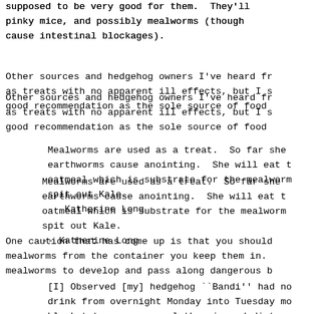supposed to be very good for them.  They'll pinky mice, and possibly mealworms (though cause intestinal blockages).
Other sources and hedgehog owners I've heard fr as treats with no apparent ill effects, but I s good recommendation as the sole source of food
Mealworms are used as a treat.  So far she earthworms cause anointing.  She will eat t oatmeal which is substrate for the mealworm spit out Kale.
-- Katherine Long
One caution that has come up is that you should mealworms from the container you keep them in. mealworms to develop and pass along dangerous b
[I] Observed [my] hedgehog ``Bandi'' had no drink from overnight Monday into Tuesday mo blanket to see a very lethargic and distre